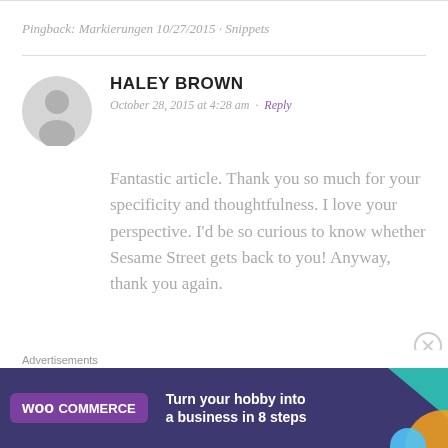Pingback: Markierungen 10/27/2015 · Snippets
HALEY BROWN
October 28, 2015 at 4:28 am · Reply
Fantastic article. Thank you so much for your specificity and thoughtfulness. I love your perspective. I'd be so curious to know whether Sesame Street gets back to you! Anyway, thank you again.
Advertisements
[Figure (screenshot): WooCommerce advertisement banner: dark navy/purple background with teal and orange decorative shapes, WooCommerce logo on purple rectangle, text reads 'Turn your hobby into a business in 8 steps']